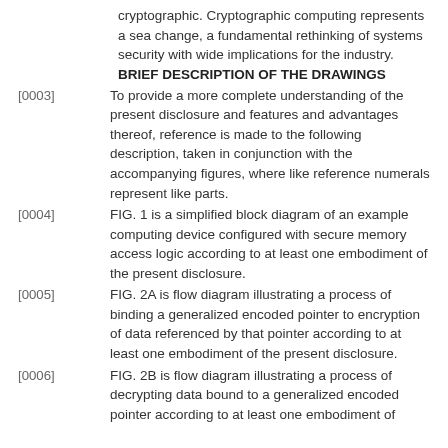cryptographic. Cryptographic computing represents a sea change, a fundamental rethinking of systems security with wide implications for the industry.
BRIEF DESCRIPTION OF THE DRAWINGS
[0003] To provide a more complete understanding of the present disclosure and features and advantages thereof, reference is made to the following description, taken in conjunction with the accompanying figures, where like reference numerals represent like parts.
[0004] FIG. 1 is a simplified block diagram of an example computing device configured with secure memory access logic according to at least one embodiment of the present disclosure.
[0005] FIG. 2A is flow diagram illustrating a process of binding a generalized encoded pointer to encryption of data referenced by that pointer according to at least one embodiment of the present disclosure.
[0006] FIG. 2B is flow diagram illustrating a process of decrypting data bound to a generalized encoded pointer according to at least one embodiment of